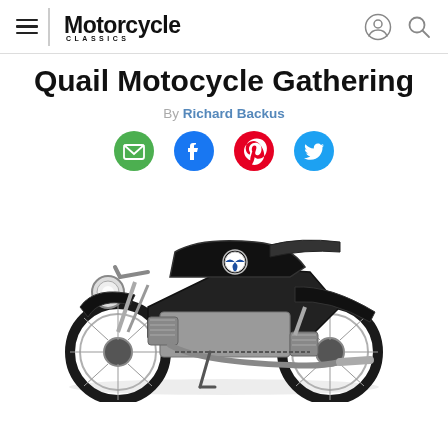Motorcycle Classics
Quail Motocycle Gathering
By Richard Backus
[Figure (other): Social media sharing icons: email (green circle), Facebook (blue circle), Pinterest (red circle), Twitter (blue bird)]
[Figure (photo): Classic black BMW motorcycle (vintage boxer twin, likely 1960s R-series) photographed on white background, facing right, showing full side profile with spoked wheels, chrome engine, and BMW roundel on tank]